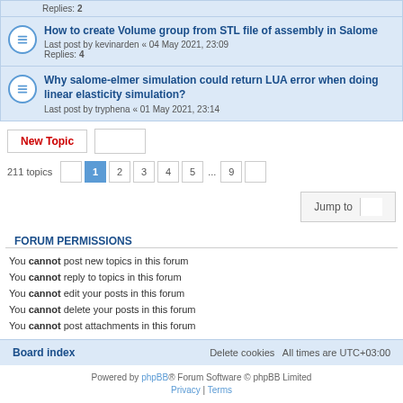Replies: 2
How to create Volume group from STL file of assembly in Salome
Last post by kevinarden « 04 May 2021, 23:09
Replies: 4
Why salome-elmer simulation could return LUA error when doing linear elasticity simulation?
Last post by tryphena « 01 May 2021, 23:14
211 topics
You cannot post new topics in this forum
You cannot reply to topics in this forum
You cannot edit your posts in this forum
You cannot delete your posts in this forum
You cannot post attachments in this forum
FORUM PERMISSIONS
Board index   Delete cookies   All times are UTC+03:00
Powered by phpBB® Forum Software © phpBB Limited
Privacy | Terms